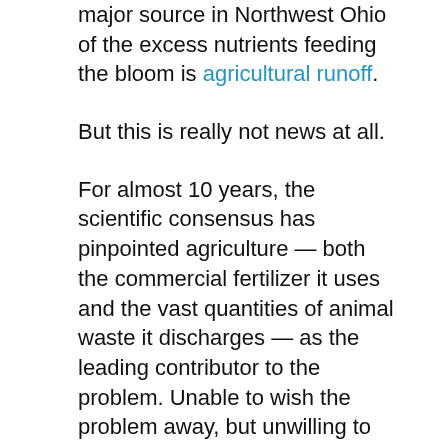major source in Northwest Ohio of the excess nutrients feeding the bloom is agricultural runoff.
But this is really not news at all.
For almost 10 years, the scientific consensus has pinpointed agriculture — both the commercial fertilizer it uses and the vast quantities of animal waste it discharges — as the leading contributor to the problem. Unable to wish the problem away, but unwilling to take serious action, government officials entered into much-heralded pacts like the Western Basin of Lake Erie Collaborative Agreement to combat the algae. The June 2015 agreement called for a 20% reduction in phosphorus loading by 2020 and 40% by 2025. Yet here we are, nearing the end of 2019 with western Lake Erie resembling pea soup.  There is no reason to believe next year's 20% target will be